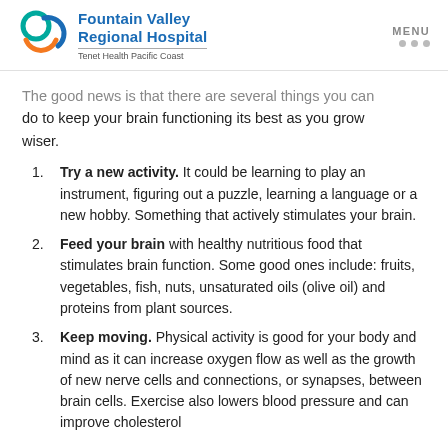Fountain Valley Regional Hospital Tenet Health Pacific Coast | MENU
The good news is that there are several things you can do to keep your brain functioning its best as you grow wiser.
Try a new activity. It could be learning to play an instrument, figuring out a puzzle, learning a language or a new hobby. Something that actively stimulates your brain.
Feed your brain with healthy nutritious food that stimulates brain function. Some good ones include: fruits, vegetables, fish, nuts, unsaturated oils (olive oil) and proteins from plant sources.
Keep moving. Physical activity is good for your body and mind as it can increase oxygen flow as well as the growth of new nerve cells and connections, or synapses, between brain cells. Exercise also lowers blood pressure and can improve cholesterol